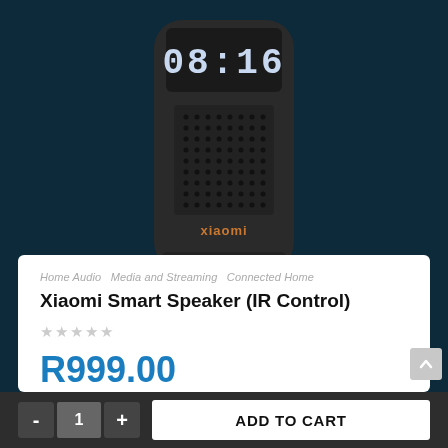[Figure (photo): Xiaomi Smart Speaker (IR Control) product photo showing a black cylindrical speaker with digital clock display showing 08:16, speaker grille with dot pattern, and Xiaomi logo in orange text]
Home Audio  Media and Streaming  Connected Home
Xiaomi Smart Speaker (IR Control)
R999.00